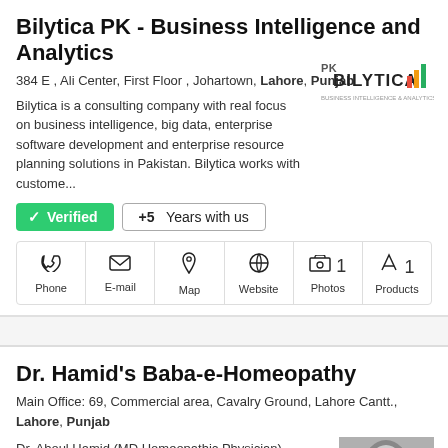Bilytica PK - Business Intelligence and Analytics
384 E , Ali Center, First Floor , Johartown, Lahore, Punjab
Bilytica is a consulting company with real focus on business intelligence, big data, enterprise software development and enterprise resource planning solutions in Pakistan. Bilytica works with custome...
[Figure (logo): Bilytica logo with bar chart icon]
✓ Verified   +5 Years with us
[Figure (infographic): Contact icons row: Phone, E-mail, Map, Website, 1 Photos, 1 Products]
Dr. Hamid's Baba-e-Homeopathy
Main Office: 69, Commercial area, Cavalry Ground, Lahore Cantt., Lahore, Punjab
Dr. Aboul Hamid (MD Homeopathic Physician) Founder of Baba-e-Homeopathy Dr. Hamid In 1918. CEO: Homeopathic Doctor Saleem Hamid.(Specialist in
[Figure (photo): Black and white portrait photo of an elderly man]